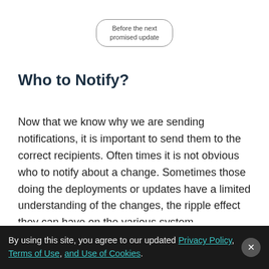[Figure (flowchart): A rounded rectangle box containing the text 'Before the next promised update']
Who to Notify?
Now that we know why we are sending notifications, it is important to send them to the correct recipients. Often times it is not obvious who to notify about a change. Sometimes those doing the deployments or updates have a limited understanding of the changes, the ripple effect they can have on the various system components, and ultimately the end user effected by the change. As a result the individual sending the notification is usually too
By using this site, you agree to our updated Privacy Policy, Terms of Use, and Use of Cookies.